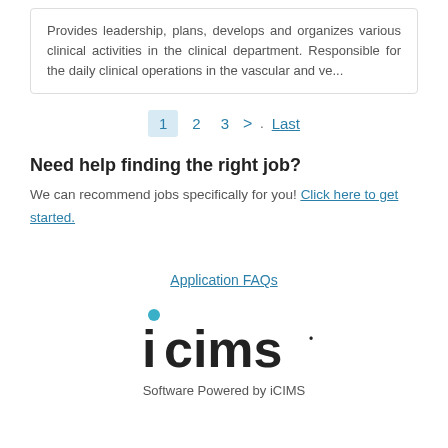Provides leadership, plans, develops and organizes various clinical activities in the clinical department. Responsible for the daily clinical operations in the vascular and ve...
1 2 3 > Last
Need help finding the right job?
We can recommend jobs specifically for you! Click here to get started.
Application FAQs
[Figure (logo): iCIMS logo with a teal dot above the letter i]
Software Powered by iCIMS